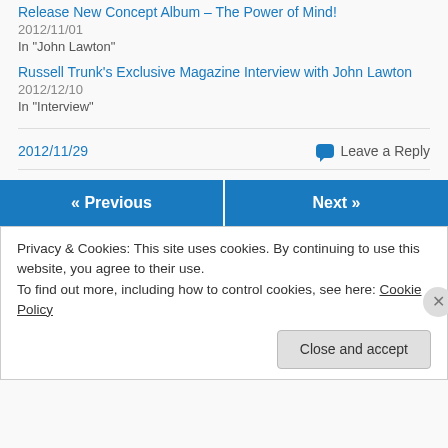Release New Concept Album – The Power of Mind!
2012/11/01
In "John Lawton"
Russell Trunk's Exclusive Magazine Interview with John Lawton
2012/12/10
In "Interview"
2012/11/29
Leave a Reply
« Previous
Next »
Privacy & Cookies: This site uses cookies. By continuing to use this website, you agree to their use.
To find out more, including how to control cookies, see here: Cookie Policy
Close and accept